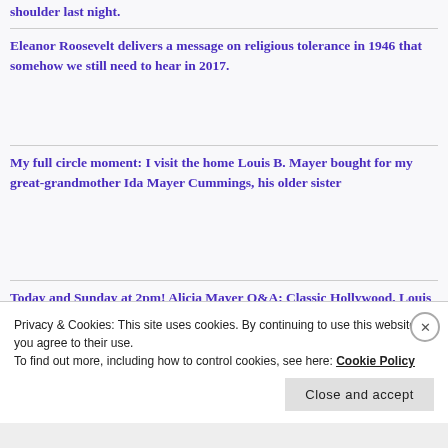shoulder last night.
Eleanor Roosevelt delivers a message on religious tolerance in 1946 that somehow we still need to hear in 2017.
My full circle moment: I visit the home Louis B. Mayer bought for my great-grandmother Ida Mayer Cummings, his older sister
Today and Sunday at 2pm! Alicia Mayer Q&A: Classic Hollywood, Louis B. Mayer, MGM, and
Privacy & Cookies: This site uses cookies. By continuing to use this website, you agree to their use.
To find out more, including how to control cookies, see here: Cookie Policy
Close and accept